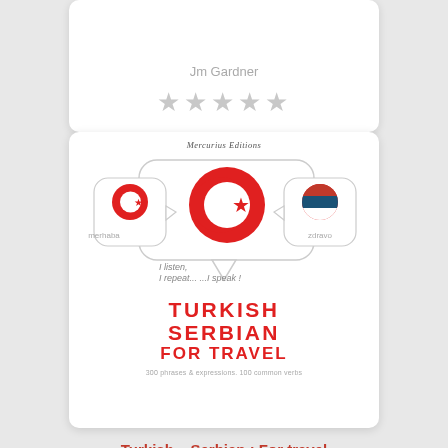Jm Gardner
[Figure (illustration): Five grey star rating icons]
[Figure (illustration): Book cover for Turkish - Serbian: For Travel by Mercurius Editions. Features speech bubbles with Turkish and Serbian flags, Turkish flag in center, text 'I listen, I repeat... ...I speak!', large red bold text TURKISH SERBIAN FOR TRAVEL, subtitle 300 phrases & expressions. 100 common verbs]
Turkish – Serbian : For travel
Jm Gardner